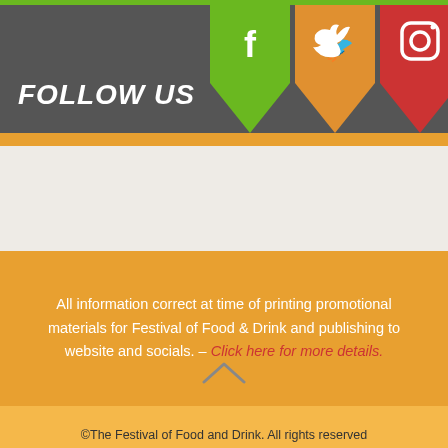[Figure (infographic): Social media follow section with FOLLOW US text and Facebook, Twitter, Instagram icons in colored downward triangles on dark grey background]
All information correct at time of printing promotional materials for Festival of Food & Drink and publishing to website and socials. – Click here for more details.
©The Festival of Food and Drink. All rights reserved